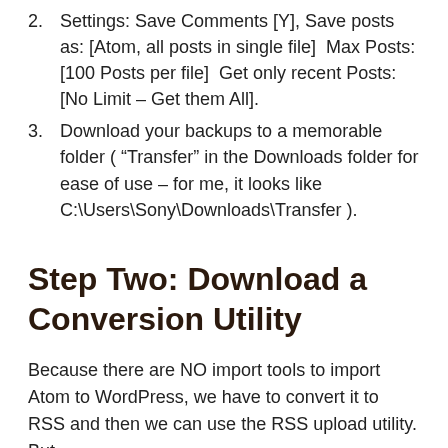2. Settings: Save Comments [Y], Save posts as: [Atom, all posts in single file]  Max Posts: [100 Posts per file]  Get only recent Posts: [No Limit – Get them All].
3. Download your backups to a memorable folder ( “Transfer” in the Downloads folder for ease of use – for me, it looks like C:\Users\Sony\Downloads\Transfer ).
Step Two: Download a Conversion Utility
Because there are NO import tools to import Atom to WordPress, we have to convert it to RSS and then we can use the RSS upload utility. But